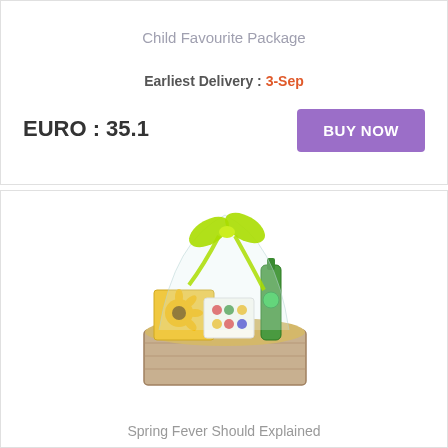Child Favourite Package
Earliest Delivery : 3-Sep
EURO : 35.1
BUY NOW
[Figure (photo): A gift hamper basket filled with snacks, sweets, and beverages wrapped in clear cellophane with a yellow-green ribbon bow on top.]
Spring Fever Should Explained